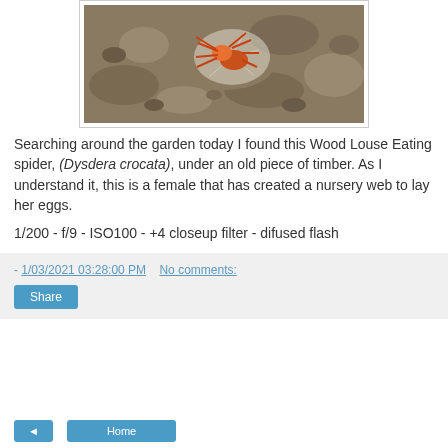[Figure (photo): Close-up photo of a red/orange Wood Louse Eating spider (Dysdera crocata) on rocky soil, with web visible around it.]
Searching around the garden today I found this Wood Louse Eating spider, (Dysdera crocata), under an old piece of timber. As I understand it, this is a female that has created a nursery web to lay her eggs.
1/200 - f/9 - ISO100 - +4 closeup filter - difused flash
- 1/03/2021 03:28:00 PM   No comments:
Share